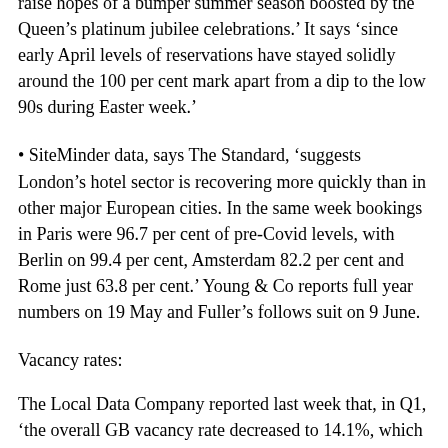raise hopes of a bumper summer season boosted by the Queen's platinum jubilee celebrations.' It says 'since early April levels of reservations have stayed solidly around the 100 per cent mark apart from a dip to the low 90s during Easter week.'
• SiteMinder data, says The Standard, 'suggests London's hotel sector is recovering more quickly than in other major European cities. In the same week bookings in Paris were 96.7 per cent of pre-Covid levels, with Berlin on 99.4 per cent, Amsterdam 82.2 per cent and Rome just 63.8 per cent.' Young & Co reports full year numbers on 19 May and Fuller's follows suit on 9 June.
Vacancy rates:
The Local Data Company reported last week that, in Q1, 'the overall GB vacancy rate decreased to 14.1%, which was a 0.3 percentage point down from Q4 2021. This